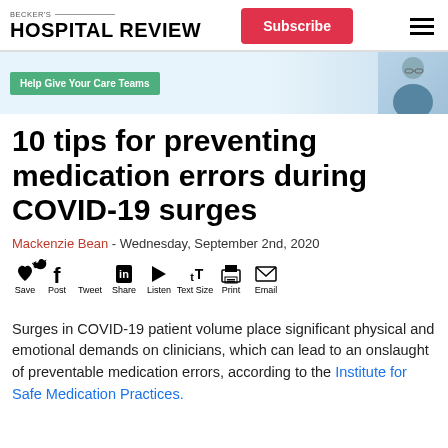BECKER'S HOSPITAL REVIEW | Subscribe
[Figure (photo): Advertisement banner with green tag reading 'Help Give Your Care Teams' and a person in scrubs/medical attire on the right side]
10 tips for preventing medication errors during COVID-19 surges
Mackenzie Bean - Wednesday, September 2nd, 2020
[Figure (infographic): Social sharing toolbar with icons: Save (heart), Post (f), Tweet (bird), Share (in), Listen (play), Text Size (tT), Print (printer), Email (envelope)]
Surges in COVID-19 patient volume place significant physical and emotional demands on clinicians, which can lead to an onslaught of preventable medication errors, according to the Institute for Safe Medication Practices.